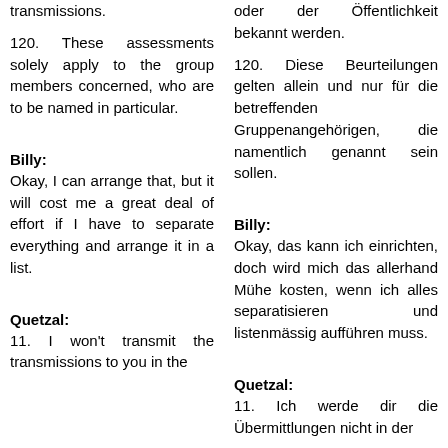transmissions.
oder der Öffentlichkeit bekannt werden.
120. These assessments solely apply to the group members concerned, who are to be named in particular.
120. Diese Beurteilungen gelten allein und nur für die betreffenden Gruppenangehörigen, die namentlich genannt sein sollen.
Billy:
Billy:
Okay, I can arrange that, but it will cost me a great deal of effort if I have to separate everything and arrange it in a list.
Okay, das kann ich einrichten, doch wird mich das allerhand Mühe kosten, wenn ich alles separatisieren und listenmässig aufführen muss.
Quetzal:
Quetzal:
11. I won't transmit the transmissions to you in the
11. Ich werde dir die Übermittlungen nicht in der